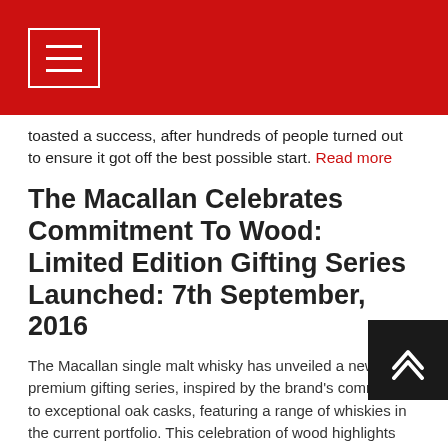Navigation menu header bar
toasted a success, after hundreds of people turned out to ensure it got off the best possible start. Read more
The Macallan Celebrates Commitment To Wood: Limited Edition Gifting Series Launched: 7th September, 2016
The Macallan single malt whisky has unveiled a new premium gifting series, inspired by the brand's commitment to exceptional oak casks, featuring a range of whiskies in the current portfolio. This celebration of wood highlights the oak casks which deliver 100% natural colour and account for up to 80% of the character of The Macallan. Read more
Glenfiddich rewrites the whisky rule book :: Introducing the Glenfiddich